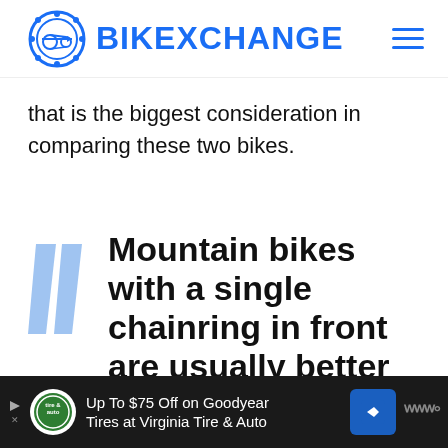BIKEXCHANGE
that is the biggest consideration in comparing these two bikes.
Mountain bikes with a single chainring in front are usually better able to handle
[Figure (other): Advertisement banner: Up To $75 Off on Goodyear Tires at Virginia Tire & Auto]